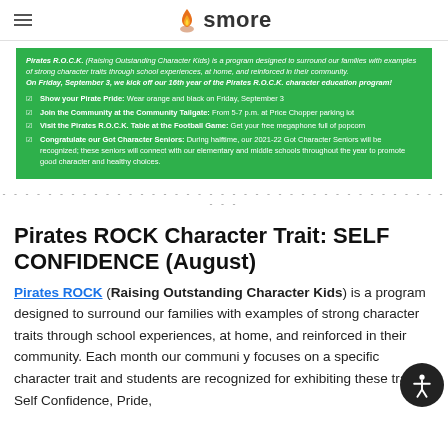smore
Pirates R.O.C.K. (Raising Outstanding Character Kids) is a program designed to surround our families with examples of strong character traits through school experiences, at home, and reinforced in their community. On Friday, September 3, we kick off our 16th year of the Pirates R.O.C.K. character education program!
Show your Pirate Pride: Wear orange and black on Friday, September 3
Join the Community at the Community Tailgate: From 5-7 p.m. at Price Chopper parking lot
Visit the Pirates R.O.C.K. Table at the Football Game: Get your free megaphone full of popcorn
Congratulate our Got Character Seniors: During halftime, our 2021-22 Got Character Seniors will be recognized; these seniors will connect with our elementary and middle schools throughout the year to promote good character and healthy choices.
Pirates ROCK Character Trait: SELF CONFIDENCE (August)
Pirates ROCK (Raising Outstanding Character Kids) is a program designed to surround our families with examples of strong character traits through school experiences, at home, and reinforced in their community. Each month our community focuses on a specific character trait and students are recognized for exhibiting these traits: Self Confidence, Pride,